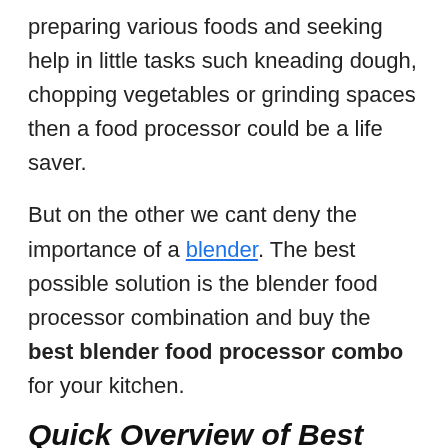preparing various foods and seeking help in little tasks such kneading dough, chopping vegetables or grinding spaces then a food processor could be a life saver.
But on the other we cant deny the importance of a blender. The best possible solution is the blender food processor combination and buy the best blender food processor combo for your kitchen.
Quick Overview of Best Blender Food Processor Combo